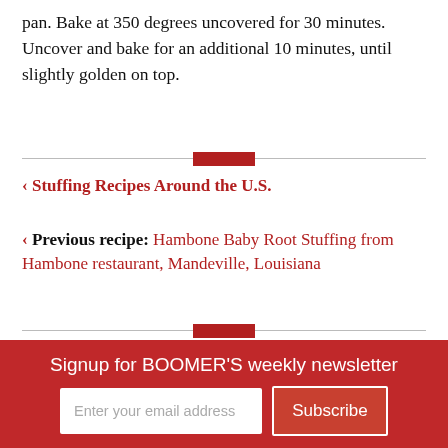pan. Bake at 350 degrees uncovered for 30 minutes. Uncover and bake for an additional 10 minutes, until slightly golden on top.
< Stuffing Recipes Around the U.S.
< Previous recipe: Hambone Baby Root Stuffing from Hambone restaurant, Mandeville, Louisiana
[Figure (screenshot): Advertisement banner for Tailored Newsletters: Travel, Nostalgia, Games, and More — Pick Your Favorites! Sign Up Here. Red background with suitcase graphic and close button.]
Signup for BOOMER'S weekly newsletter
Enter your email address
Subscribe